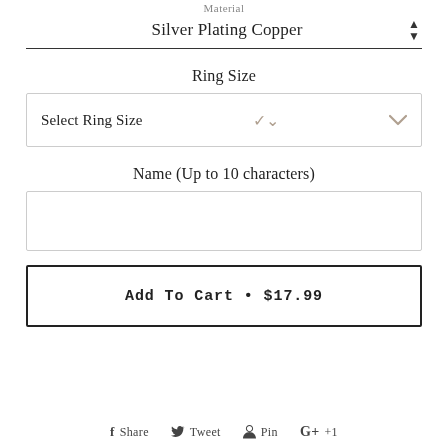Material
Silver Plating Copper
Ring Size
Select Ring Size
Name (Up to 10 characters)
Add To Cart • $17.99
Share  Tweet  Pin  +1